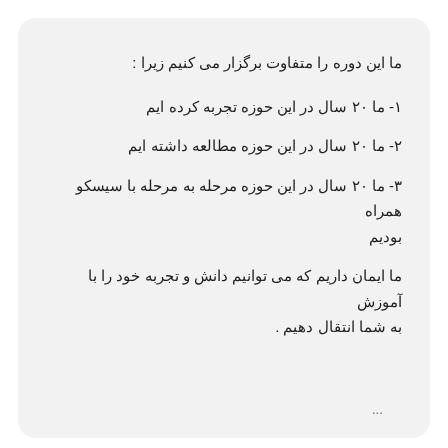ما این دوره را متفاوت برگزار می کنیم زیرا :
۱- ما ۲۰ سال در این حوزه تجربه کرده ایم
۲- ما ۲۰ سال در این حوزه مطالعه داشته ایم
۳- ما ۲۰ سال در این حوزه مرحله به مرحله با سیسکو همراه بودیم
ما ایمان داریم که می توانیم دانش و تجربه خود را با آموزش به شما انتقال دهیم .
...